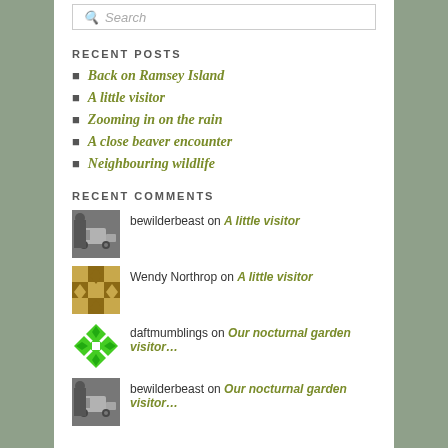Search
RECENT POSTS
Back on Ramsey Island
A little visitor
Zooming in on the rain
A close beaver encounter
Neighbouring wildlife
RECENT COMMENTS
bewilderbeast on A little visitor
Wendy Northrop on A little visitor
daftmumblings on Our nocturnal garden visitor…
bewilderbeast on Our nocturnal garden visitor…